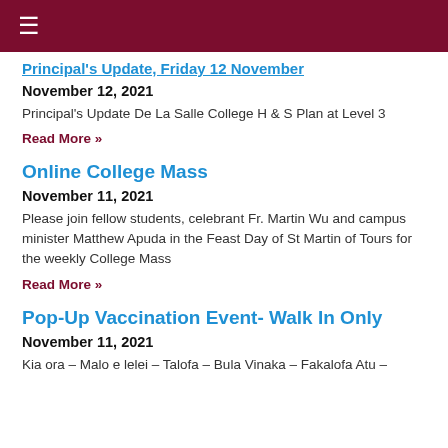≡
Principal's Update, Friday 12 November
November 12, 2021
Principal's Update De La Salle College H & S Plan at Level 3
Read More »
Online College Mass
November 11, 2021
Please join fellow students, celebrant Fr. Martin Wu and campus minister Matthew Apuda in the Feast Day of St Martin of Tours for the weekly College Mass
Read More »
Pop-Up Vaccination Event- Walk In Only
November 11, 2021
Kia ora – Malo e lelei – Talofa – Bula Vinaka – Fakalofa Atu –